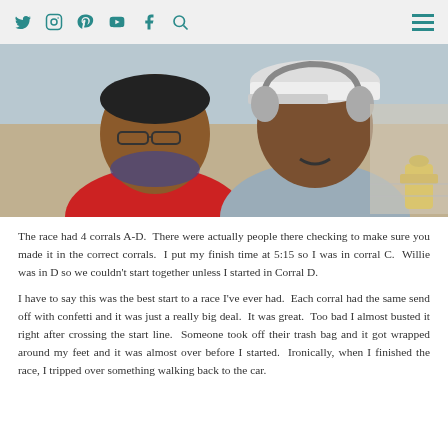Social media navigation bar with Twitter, Instagram, Pinterest, YouTube, Facebook, Search icons and hamburger menu
[Figure (photo): Selfie of two people outdoors, a woman wearing glasses and a red top with a scarf, and a man wearing a white cap and headphones with a gray shirt, smiling together. A yellow fire hydrant is visible in the background.]
The race had 4 corrals A-D.  There were actually people there checking to make sure you made it in the correct corrals.  I put my finish time at 5:15 so I was in corral C.  Willie was in D so we couldn't start together unless I started in Corral D.
I have to say this was the best start to a race I've ever had.  Each corral had the same send off with confetti and it was just a really big deal.  It was great.  Too bad I almost busted it right after crossing the start line.  Someone took off their trash bag and it got wrapped around my feet and it was almost over before I started.  Ironically, when I finished the race, I tripped over something walking back to the car.